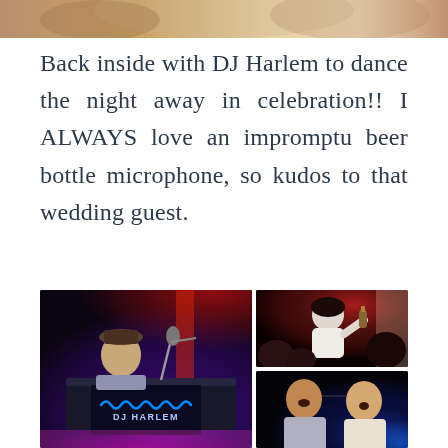[Figure (photo): Partial photo visible at top of page, cropped — appears to be people at a wedding event]
Back inside with DJ Harlem to dance the night away in celebration!! I ALWAYS love an impromptu beer bottle microphone, so kudos to that wedding guest.
[Figure (photo): Collage of three wedding reception photos: left large photo shows DJ Harlem at his DJ booth with DJ HARLEM sign, red and purple stage lighting; top right photo shows a bride dancing and singing with guests in background under red lighting; bottom right photo shows two men singing together on the dance floor with blue lighting]